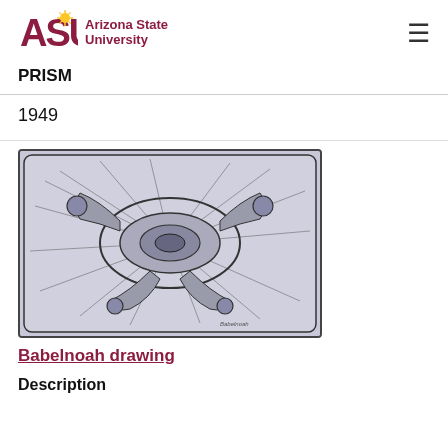ASU Arizona State University
PRISM
1949
[Figure (illustration): Aerial architectural drawing of Babelnoah, showing a complex circular and radial building layout with detailed structural elements, in black and white ink style.]
Babelnoah drawing
Description